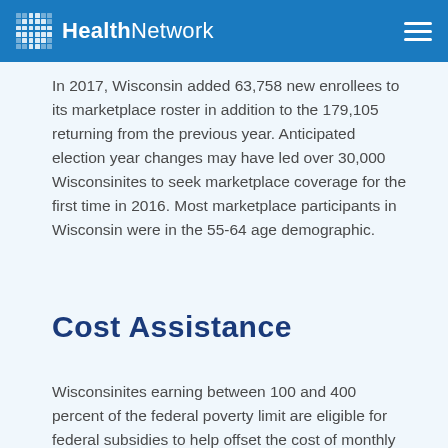HealthNetwork
In 2017, Wisconsin added 63,758 new enrollees to its marketplace roster in addition to the 179,105 returning from the previous year. Anticipated election year changes may have led over 30,000 Wisconsinites to seek marketplace coverage for the first time in 2016. Most marketplace participants in Wisconsin were in the 55-64 age demographic.
Cost Assistance
Wisconsinites earning between 100 and 400 percent of the federal poverty limit are eligible for federal subsidies to help offset the cost of monthly premiums and